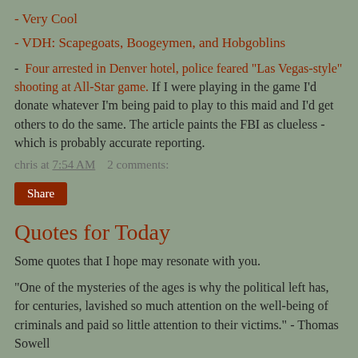- Very Cool
- VDH: Scapegoats, Boogeymen, and Hobgoblins
- Four arrested in Denver hotel, police feared "Las Vegas-style" shooting at All-Star game. If I were playing in the game I'd donate whatever I'm being paid to play to this maid and I'd get others to do the same. The article paints the FBI as clueless - which is probably accurate reporting.
chris at 7:54 AM   2 comments:
Share
Quotes for Today
Some quotes that I hope may resonate with you.
"One of the mysteries of the ages is why the political left has, for centuries, lavished so much attention on the well-being of criminals and paid so little attention to their victims." - Thomas Sowell